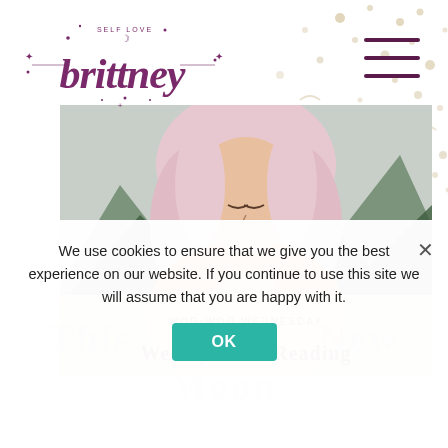[Figure (logo): Brittney self love branding script logo in purple/maroon with stars and crescent moon]
[Figure (photo): Woman with pink/blonde hair in floral orange dress with hands together in prayer pose, mountain background, with peach overlay at bottom showing WOO•WOO WEDNESDAY and Weekly Tarot Reading text]
WOO•WOO WEDNESDAY
Weekly Tarot Reading
We use cookies to ensure that we give you the best experience on our website. If you continue to use this site we will assume that you are happy with it.
OK
This weeks New Mo...